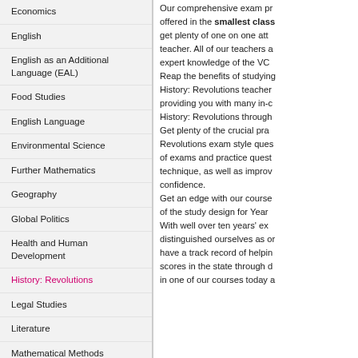Economics
English
English as an Additional Language (EAL)
Food Studies
English Language
Environmental Science
Further Mathematics
Geography
Global Politics
Health and Human Development
History: Revolutions
Legal Studies
Literature
Mathematical Methods
Our comprehensive exam program offered in the smallest classes, get plenty of one on one attention from your teacher. All of our teachers are experienced with expert knowledge of the VCE syllabus. Reap the benefits of studying with our History: Revolutions teachers who are providing you with many in-class resources for History: Revolutions throughout the course. Get plenty of the crucial practice with History: Revolutions exam style questions with plenty of exams and practice questions to perfect your technique, as well as improve your confidence. Get an edge with our course covering all aspects of the study design for Year 11 and Year 12. With well over ten years' experience, we have distinguished ourselves as one of the best and have a track record of helping students achieve scores in the state through dedicated tutoring. Enrol in one of our courses today and